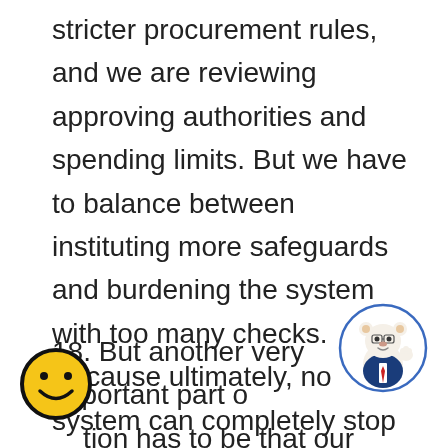stricter procurement rules, and we are reviewing approving authorities and spending limits. But we have to balance between instituting more safeguards and burdening the system with too many checks. Because ultimately, no system can completely stop a determined cheat and part of the solution has to be that if you do it, we will catch you and punish you.
18. But another very important part of the solution has to be that our officers are imbued with the right values, to understand the ethos
[Figure (illustration): Yellow smiley face emoji circle, black outline, at bottom left]
[Figure (illustration): Bear mascot cartoon in a blue suit with glasses, inside a blue circle outline, at bottom right]